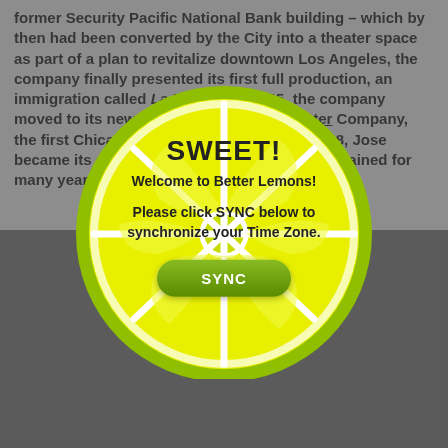former Security Pacific National Bank building – which by then had been converted by the City into a theater space as part of a plan to revitalize downtown Los Angeles, the company finally presented its first full production, an immigration called La Victima. In 1995, the company moved to its new home to the Latino Theater Company, the first Chicano non-profit ever since. In 1998, Jose became its artistic director, a role he has maintained for many years, multi-talented. Jose took time
[Figure (illustration): A lemon/lime slice popup dialog with 'SWEET! Welcome to Better Lemons! Please click SYNC below to synchronize your Time Zone.' message and a green SYNC button, overlaid on the page.]